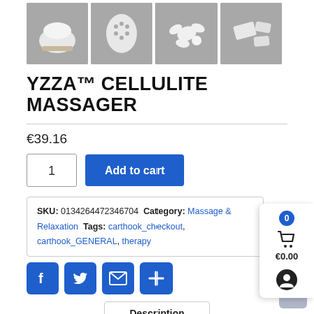[Figure (photo): Four product thumbnail images of the YZZA Cellulite Massager on gray backgrounds]
YZZA™ CELLULITE MASSAGER
€39.16
Add to cart (quantity: 1)
SKU: 0134264472346704  Category: Massage & Relaxation  Tags: carthook_checkout, carthook_GENERAL, therapy
[Figure (other): Social share buttons: Facebook, Twitter, Email, Plus]
Description